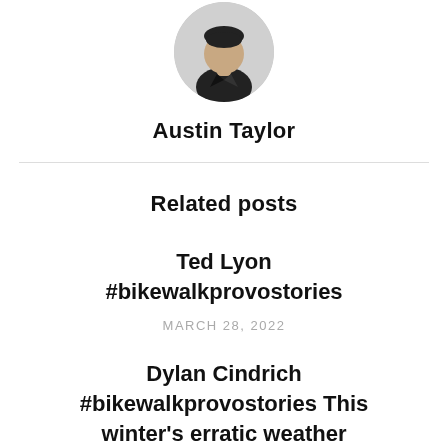[Figure (photo): Circular profile photo of Austin Taylor, a man wearing a dark shirt, shown from shoulders up against a light background.]
Austin Taylor
Related posts
Ted Lyon #bikewalkprovostories
MARCH 28, 2022
Dylan Cindrich #bikewalkprovostories This winter’s erratic weather patterns, snowy single